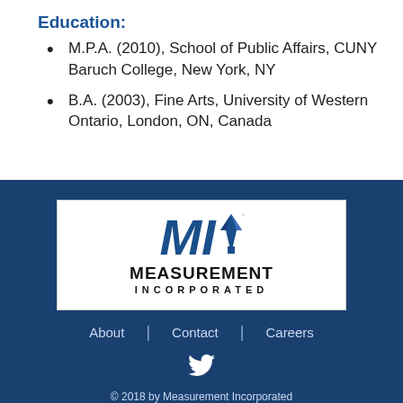Education:
M.P.A. (2010), School of Public Affairs, CUNY Baruch College, New York, NY
B.A. (2003), Fine Arts, University of Western Ontario, London, ON, Canada
[Figure (logo): Measurement Incorporated logo: stylized 'MI' letters in blue italic with a pen nib icon, and text 'MEASUREMENT INCORPORATED' below]
About  |  Contact  |  Careers
© 2018 by Measurement Incorporated